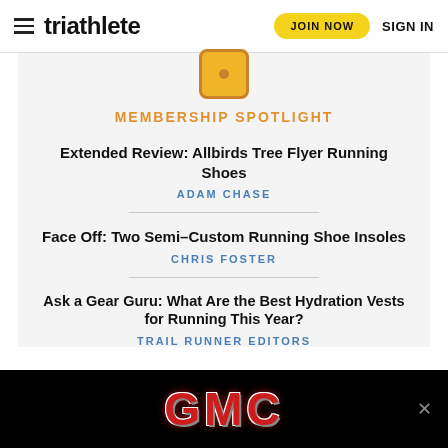triathlete | JOIN NOW | SIGN IN
[Figure (logo): Membership spotlight icon — orange/yellow rounded square with a dark dot in center]
MEMBERSHIP SPOTLIGHT
Extended Review: Allbirds Tree Flyer Running Shoes
ADAM CHASE
Face Off: Two Semi-Custom Running Shoe Insoles
CHRIS FOSTER
Ask a Gear Guru: What Are the Best Hydration Vests for Running This Year?
TRAIL RUNNER EDITORS
[Figure (logo): GMC advertisement banner — white GMC logo text with red metallic styling on black background]